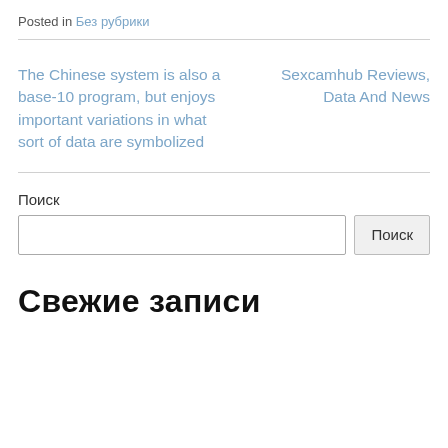Posted in Без рубрики
The Chinese system is also a base-10 program, but enjoys important variations in what sort of data are symbolized
Sexcamhub Reviews, Data And News
Поиск
Свежие записи